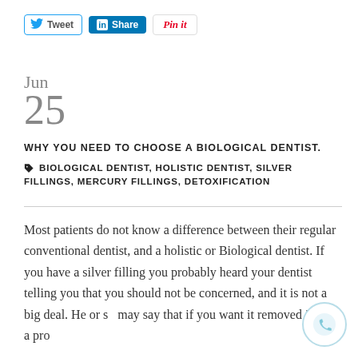[Figure (other): Social sharing buttons: Tweet (Twitter), Share (LinkedIn), Pin it (Pinterest)]
Jun
25
WHY YOU NEED TO CHOOSE A BIOLOGICAL DENTIST.
BIOLOGICAL DENTIST, HOLISTIC DENTIST, SILVER FILLINGS, MERCURY FILLINGS, DETOXIFICATION
Most patients do not know a difference between their regular conventional dentist, and a holistic or Biological dentist. If you have a silver filling you probably heard your dentist telling you that you should not be concerned, and it is not a big deal. He or she may say that if you want it removed its not a pro…